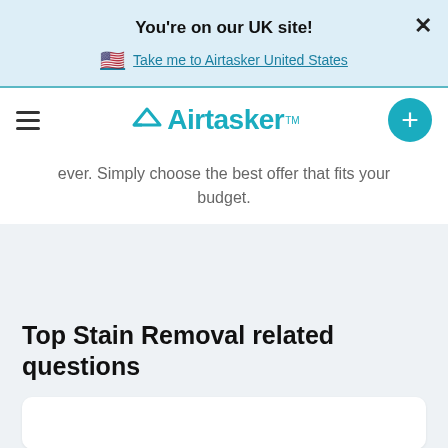You're on our UK site!
Take me to Airtasker United States
[Figure (logo): Airtasker logo with hamburger menu and plus button in teal navigation bar]
ever. Simply choose the best offer that fits your budget.
Top Stain Removal related questions